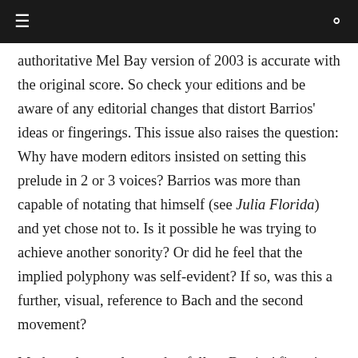≡  [navigation bar]  Q
authoritative Mel Bay version of 2003 is accurate with the original score. So check your editions and be aware of any editorial changes that distort Barrios' ideas or fingerings. This issue also raises the question: Why have modern editors insisted on setting this prelude in 2 or 3 voices? Barrios was more than capable of notating that himself (see Julia Florida) and yet chose not to. Is it possible he was trying to achieve another sonority? Or did he feel that the implied polyphony was self-evident? If so, was this a further, visual, reference to Bach and the second movement?
Modern players also tend to follow Barrios' fingering in bar 27 adding in an E on string 3, not what he actually notated...